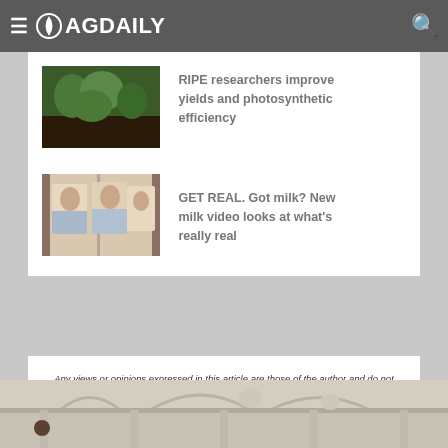AGDAILY
[Figure (photo): Thumbnail photo of plants/soil for RIPE researchers article]
RIPE researchers improve yields and photosynthetic efficiency
[Figure (photo): Thumbnail photo of people for Got milk article]
GET REAL. Got milk? New milk video looks at what's really real
Any views or opinions expressed in this article are those of the author and do not reflect those of AGDAILY. Comments on this article reflect the sole opinions of their writers.
[Figure (photo): Photo of building architecture at the bottom of the page]